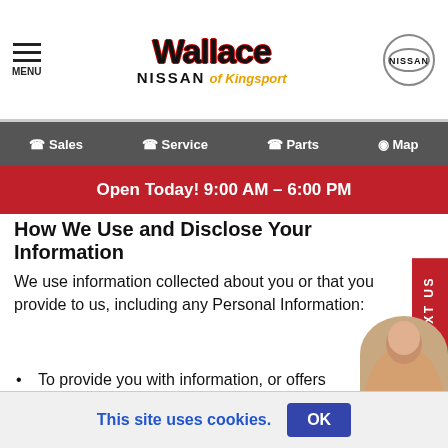MENU | Wallace Nissan of Kingsport | NISSAN
Sales | Service | Parts | Map
Open Today! 9:00 AM – 6:00 PM
How We Use and Disclose Your Information
We use information collected about you or that you provide to us, including any Personal Information:
To present our websites and their contents to you.
To provide you with information, or offers regarding our products, services, or financing of our products or services.
To fulfill any other purpose for which you provide information.
This site uses cookies.
OK